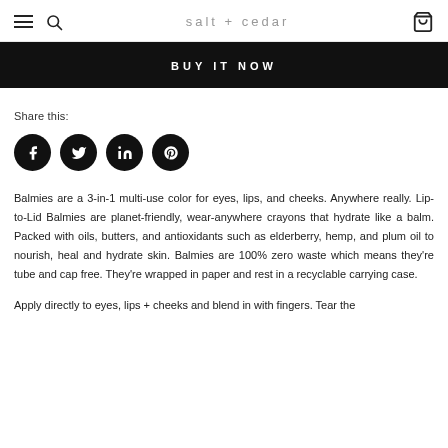salt + cedar
BUY IT NOW
Share this:
[Figure (other): Four social media icon circles: Facebook, Twitter, LinkedIn, Pinterest]
Balmies are a 3-in-1 multi-use color for eyes, lips, and cheeks. Anywhere really. Lip-to-Lid Balmies are planet-friendly, wear-anywhere crayons that hydrate like a balm. Packed with oils, butters, and antioxidants such as elderberry, hemp, and plum oil to nourish, heal and hydrate skin. Balmies are 100% zero waste which means they're tube and cap free. They're wrapped in paper and rest in a recyclable carrying case.
Apply directly to eyes, lips + cheeks and blend in with fingers. Tear the